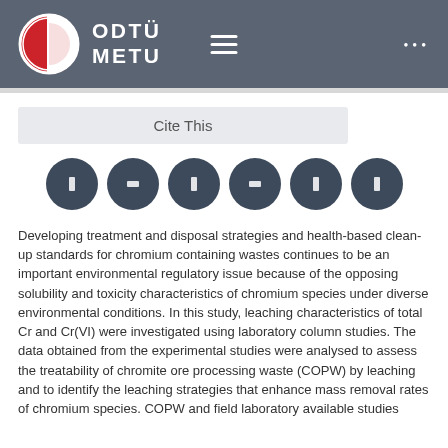ODTÜ METU
Cite This
[Figure (infographic): Row of 6 dark circular social/sharing icon buttons]
Developing treatment and disposal strategies and health-based clean-up standards for chromium containing wastes continues to be an important environmental regulatory issue because of the opposing solubility and toxicity characteristics of chromium species under diverse environmental conditions. In this study, leaching characteristics of total Cr and Cr(VI) were investigated using laboratory column studies. The data obtained from the experimental studies were analysed to assess the treatability of chromite ore processing waste (COPW) by leaching and to identify the leaching strategies that enhance mass removal rates of chromium species. COPW and field data...